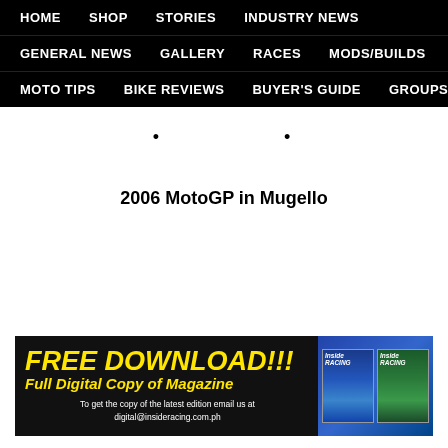HOME  SHOP  STORIES  INDUSTRY NEWS  GENERAL NEWS  GALLERY  RACES  MODS/BUILDS  MOTO TIPS  BIKE REVIEWS  BUYER'S GUIDE  GROUPS
. .
2006 MotoGP in Mugello
[Figure (infographic): Advertisement banner: FREE DOWNLOAD!!! Full Digital Copy of Magazine. To get the copy of the latest edition email us at digital@insideracing.com.ph. Shows two Inside Racing magazine covers on the right.]